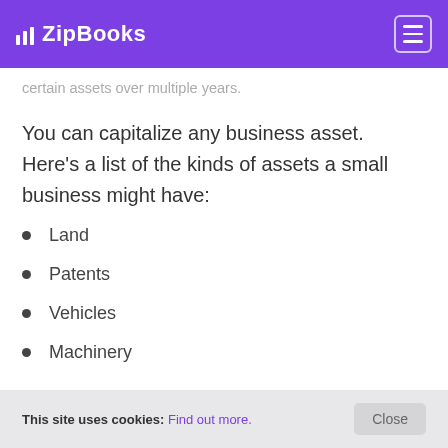ZipBooks
certain assets over multiple years.
You can capitalize any business asset. Here's a list of the kinds of assets a small business might have:
Land
Patents
Vehicles
Machinery
This site uses cookies: Find out more. Close